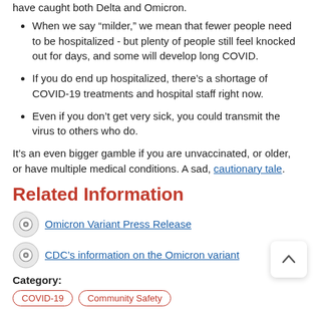have caught both Delta and Omicron.
When we say “milder,” we mean that fewer people need to be hospitalized - but plenty of people still feel knocked out for days, and some will develop long COVID.
If you do end up hospitalized, there’s a shortage of COVID-19 treatments and hospital staff right now.
Even if you don’t get very sick, you could transmit the virus to others who do.
It’s an even bigger gamble if you are unvaccinated, or older, or have multiple medical conditions. A sad, cautionary tale.
Related Information
Omicron Variant Press Release
CDC’s information on the Omicron variant
Category:
COVID-19
Community Safety